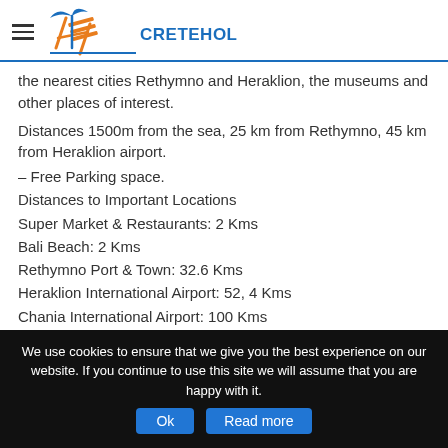CRETEHOLIDAY.GR
the nearest cities Rethymno and Heraklion, the museums and other places of interest.
Distances 1500m from the sea, 25 km from Rethymno, 45 km from Heraklion airport.
– Free Parking space.
Distances to Important Locations
Super Market & Restaurants: 2 Kms
Bali Beach: 2 Kms
Rethymno Port & Town: 32.6 Kms
Heraklion International Airport: 52, 4 Kms
Chania International Airport: 100 Kms
We would be very happy to see you at our villa.
We use cookies to ensure that we give you the best experience on our website. If you continue to use this site we will assume that you are happy with it.